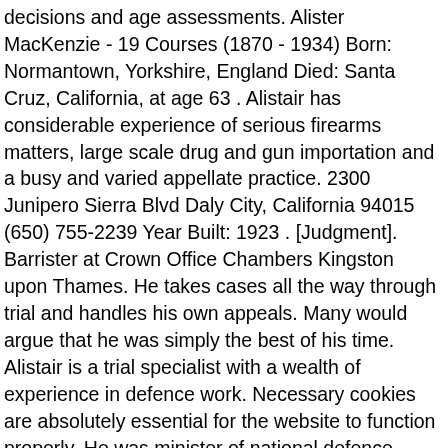decisions and age assessments. Alister MacKenzie - 19 Courses (1870 - 1934) Born: Normantown, Yorkshire, England Died: Santa Cruz, California, at age 63 . Alistair has considerable experience of serious firearms matters, large scale drug and gun importation and a busy and varied appellate practice. 2300 Junipero Sierra Blvd Daly City, California 94015 (650) 755-2239 Year Built: 1923 . [Judgment]. Barrister at Crown Office Chambers Kingston upon Thames. He takes cases all the way through trial and handles his own appeals. Many would argue that he was simply the best of his time. Alistair is a trial specialist with a wealth of experience in defence work. Necessary cookies are absolutely essential for the website to function properly. He was minister of national defence, 1935-39, overseeing the rearmament of Canada's armed forces. Word lid van Facebook om met Alistair Mackenzie en anderen in contact te komen. Best known as having played the young laird Archie MacDonald in the BBC drama Monarch of the Glen,. He is tenacious in the pursuit of his clients' best interests. We'll assume you're ok with this, but